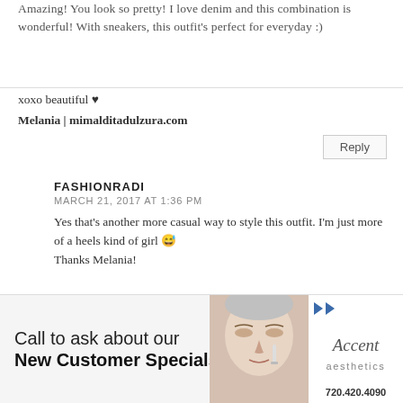Amazing! You look so pretty! I love denim and this combination is wonderful! With sneakers, this outfit's perfect for everyday :)
xoxo beautiful ♥
Melania | mimalditadulzura.com
Reply
FASHIONRADI
MARCH 21, 2017 AT 1:36 PM
Yes that's another more casual way to style this outfit. I'm just more of a heels kind of girl 😅
Thanks Melania!
Reply
MILASHE4KA_9596
MARCH 16, 2017 AT 9:10 PM
[Figure (infographic): Advertisement banner for Accent Aesthetics: 'Call to ask about our New Customer Specials!' with a woman's face and logo, phone number 720.420.4090]